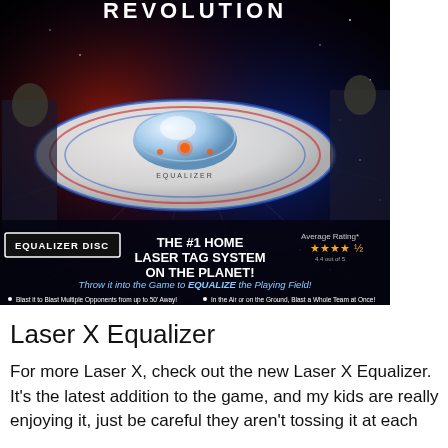[Figure (photo): Product box photo of Laser X Revolution 'Equalizer Disc' laser tag toy. Shows a white flying disc with blue and red stripes and a central dome with glowing lights, set against a space-themed background with starburst effects. Text on box reads: 'EQUALIZER DISC', 'THE #1 HOME LASER TAG SYSTEM ON THE PLANET!', 'Average Rating' with 4.5 stars, 'Throw it into the Game to EQUALIZE the Playing Field!', bullet points: 'Blast it to Blast Multiple Opponents from up to 50' Away!' and 'In the Air or on the Ground, Blast a Whole Team at Once!']
Laser X Equalizer
For more Laser X, check out the new Laser X Equalizer. It's the latest addition to the game, and my kids are really enjoying it, just be careful they aren't tossing it at each